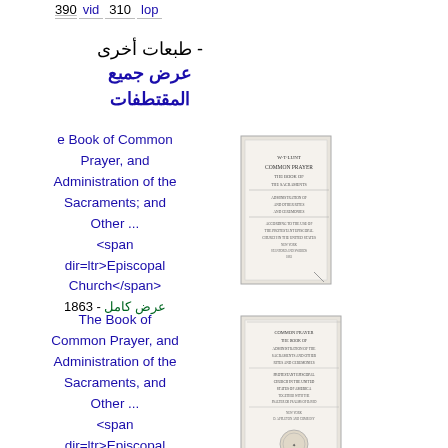390  vid  310  lop
طبعات أخرى - عرض جميع المقتطفات
e Book of Common Prayer, and Administration of the Sacraments; and Other ... <span dir=ltr>Episcopal Church</span> 1863 - عرض كامل
The Book of Common Prayer, and Administration of the Sacraments, and Other ... <span dir=ltr>Episcopal
[Figure (illustration): Thumbnail of book cover for The Book of Common Prayer, 1863 edition]
[Figure (illustration): Thumbnail of book cover for The Book of Common Prayer, another edition]